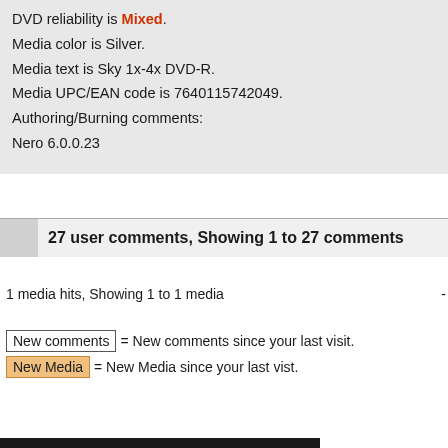DVD reliability is Mixed. Media color is Silver. Media text is Sky 1x-4x DVD-R. Media UPC/EAN code is 7640115742049. Authoring/Burning comments: Nero 6.0.0.23
27 user comments, Showing 1 to 27 comments
1 media hits, Showing 1 to 1 media -
New comments = New comments since your last visit.
New Media = New Media since your last vist.